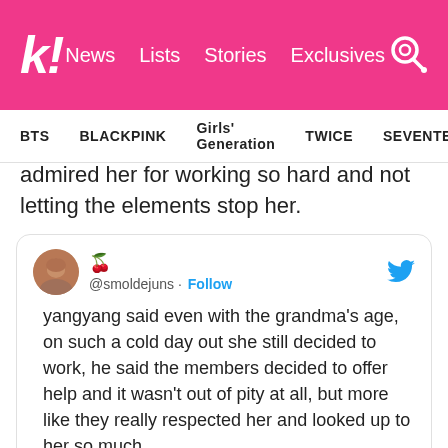koreaboo — News | Lists | Stories | Exclusives
BTS  BLACKPINK  Girls' Generation  TWICE  SEVENTEEN
admired her for working so hard and not letting the elements stop her.
[Figure (screenshot): Embedded tweet from @smoldejuns with Follow button and Twitter bird icon. Tweet text: yangyang said even with the grandma's age, on such a cold day out she still decided to work, he said the members decided to offer help and it wasn't out of pity at all, but more like they really respected her and looked up to her so much. User avatar shows a face photo. Cherry emoji next to username. Nested reply preview at bottom.]